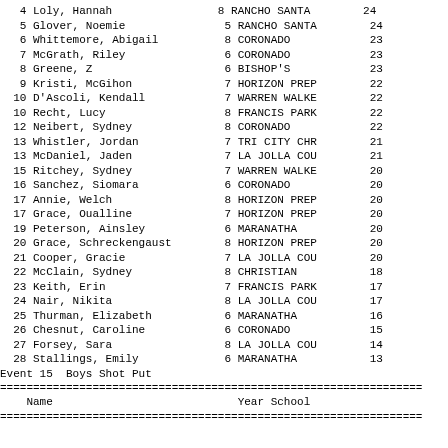| Place | Name | Year | School | Score |
| --- | --- | --- | --- | --- |
| 4 | Loly, Hannah | 8 | RANCHO SANTA | 24 |
| 5 | Glover, Noemie | 5 | RANCHO SANTA | 24 |
| 6 | Whittemore, Abigail | 8 | CORONADO | 23 |
| 7 | McGrath, Riley | 6 | CORONADO | 23 |
| 8 | Greene, Z | 6 | BISHOP'S | 23 |
| 9 | Kristi, McGihon | 7 | HORIZON PREP | 22 |
| 10 | D'Ascoli, Kendall | 7 | WARREN WALKE | 22 |
| 10 | Recht, Lucy | 8 | FRANCIS PARK | 22 |
| 12 | Neibert, Sydney | 8 | CORONADO | 22 |
| 13 | Whistler, Jordan | 7 | TRI CITY CHR | 21 |
| 13 | McDaniel, Jaden | 7 | LA JOLLA COU | 21 |
| 15 | Ritchey, Sydney | 7 | WARREN WALKE | 20 |
| 16 | Sanchez, Siomara | 6 | CORONADO | 20 |
| 17 | Annie, Welch | 8 | HORIZON PREP | 20 |
| 17 | Grace, Oualline | 7 | HORIZON PREP | 20 |
| 19 | Peterson, Ainsley | 6 | MARANATHA | 20 |
| 20 | Grace, Schreckengaust | 8 | HORIZON PREP | 20 |
| 21 | Cooper, Gracie | 7 | LA JOLLA COU | 20 |
| 22 | McClain, Sydney | 8 | CHRISTIAN | 18 |
| 23 | Keith, Erin | 7 | FRANCIS PARK | 17 |
| 24 | Nair, Nikita | 8 | LA JOLLA COU | 17 |
| 25 | Thurman, Elizabeth | 6 | MARANATHA | 16 |
| 26 | Chesnut, Caroline | 6 | CORONADO | 15 |
| 27 | Forsey, Sara | 8 | LA JOLLA COU | 14 |
| 28 | Stallings, Emily | 6 | MARANATHA | 13 |
Event 15  Boys Shot Put
================================================================
Name                            Year School
================================================================